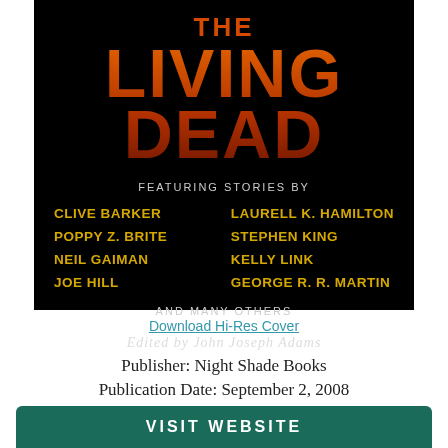[Figure (illustration): Book cover for 'The Living Dead' on black background with orange/red title text, listing featured authors in yellow bold text: Clive Barker, Poppy Z. Brite, Neil Gaiman, Joe Hill, Laurell K. Hamilton, Stephen King, Kelly Link, George R. R. Martin, and many others. Edited by John Joseph Adams.]
Download Hi-Res Cover
Publisher: Night Shade Books
Publication Date: September 2, 2008
VISIT WEBSITE